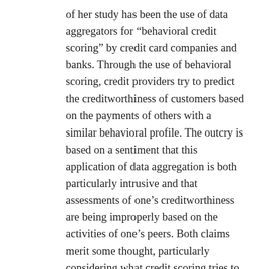of her study has been the use of data aggregators for “behavioral credit scoring” by credit card companies and banks. Through the use of behavioral scoring, credit providers try to predict the creditworthiness of customers based on the payments of others with a similar behavioral profile. The outcry is based on a sentiment that this application of data aggregation is both particularly intrusive and that assessments of one’s creditworthiness are being improperly based on the activities of one’s peers. Both claims merit some thought, particularly considering what credit scoring tries to achieve. Credit, after all, is etymologically derived from trust. And assessments of creditworthiness are fundamentally about trustworthiness. (Side note: while financiers may be scratching their heads at the unwillingness of homeowners to walk away from bad mortgages and default, the moral